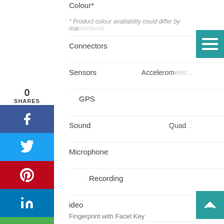Colour*
* Product colour availability could differ by market/service...
0 SHARES
Connectors
Sensors
Accelerom...
GPS
Sound
Quad...
Microphone
Recording
Video
Playback
Safety
Biometric
Fingerprint with Facet Key...